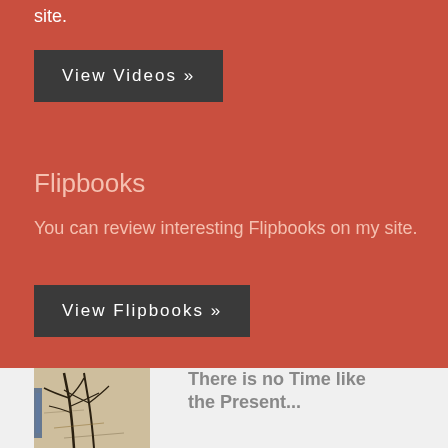site.
View Videos »
Flipbooks
You can review interesting Flipbooks on my site.
View Flipbooks »
[Figure (photo): Abstract artwork with dark branches/lines on light background]
There is no Time like the Present...